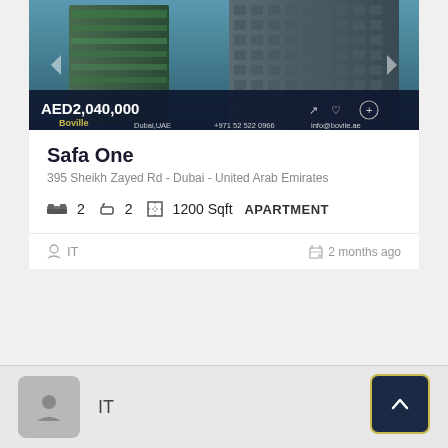[Figure (photo): Aerial/exterior rendering of modern high-rise tower with green vertical gardens, futuristic architecture in Dubai. Price overlay: AED2,040,000. Bottom bar: Boville Real Estate logo, Dubai UAE, +971 52 522 0966, info@bovile.ae]
Safa One
395 Sheikh Zayed Rd - Dubai - United Arab Emirates
2  2  1200 Sqft  APARTMENT
IT
2 months ago
IT